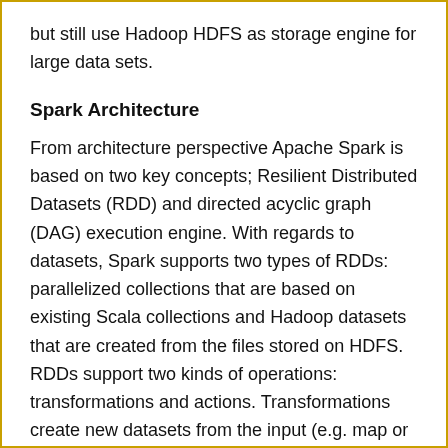but still use Hadoop HDFS as storage engine for large data sets.
Spark Architecture
From architecture perspective Apache Spark is based on two key concepts; Resilient Distributed Datasets (RDD) and directed acyclic graph (DAG) execution engine. With regards to datasets, Spark supports two types of RDDs: parallelized collections that are based on existing Scala collections and Hadoop datasets that are created from the files stored on HDFS. RDDs support two kinds of operations: transformations and actions. Transformations create new datasets from the input (e.g. map or filter operations are transformations), whereas actions return a value after executing calculations on the dataset (e.g. reduce or count operations are actions). The DAG engine helps to eliminate the MapReduce multi-stage execution model and offers significant performance improvements.